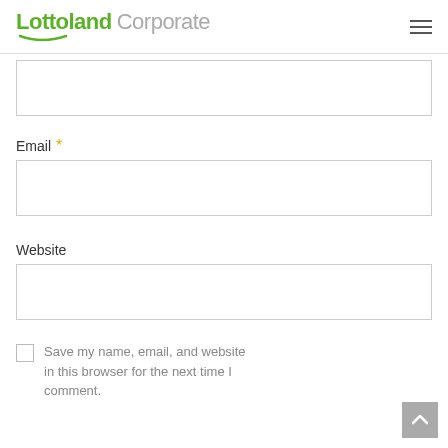Lottoland Corporate
(partial text input box — top of page, cut off)
Email *
[Figure (screenshot): Empty email input text field with grey border]
Website
[Figure (screenshot): Empty website input text field with grey border]
Save my name, email, and website in this browser for the next time I comment.